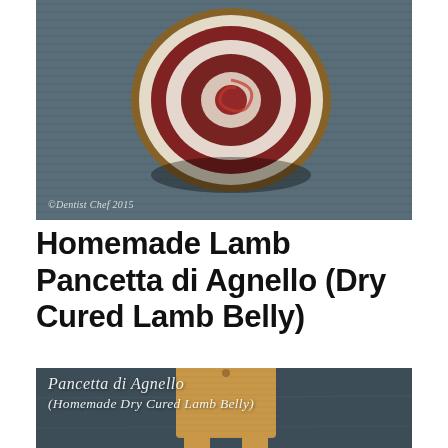[Figure (photo): Close-up photo of a rolled lamb pancetta slice showing spiral layers of dark meat and white fat, on a dark woven mat background. Watermark reads © Dentist Chef 2015]
Homemade Lamb Pancetta di Agnello (Dry Cured Lamb Belly)
[Figure (photo): Dark chalkboard background with a wooden cutting board in the foreground. White italic text overlay reads: Pancetta di Agnello (Homemade Dry Cured Lamb Belly)]